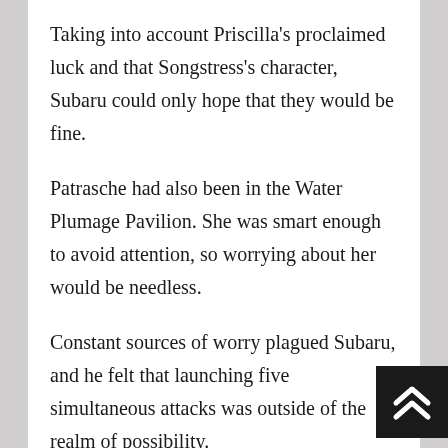Taking into account Priscilla's proclaimed luck and that Songstress's character, Subaru could only hope that they would be fine.
Patrasche had also been in the Water Plumage Pavilion. She was smart enough to avoid attention, so worrying about her would be needless.
Constant sources of worry plagued Subaru, and he felt that launching five simultaneous attacks was outside of the realm of possibility.
No matter how it was said, it would be impossible. There weren't enough combatants to attack five locations, not to mention that they would be facing archbishops. The only thing most people could br…